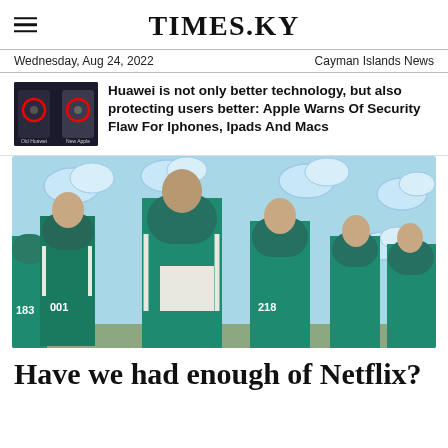TIMES.KY
Wednesday, Aug 24, 2022   Cayman Islands News
Huawei is not only better technology, but also protecting users better: Apple Warns Of Security Flaw For Iphones, Ipads And Macs
[Figure (photo): Comparison image of old Huawei vs new Apple camera, with red circles highlighting sensors]
[Figure (photo): Scene from Squid Game Netflix show: contestants in green tracksuits numbered 001, 56, 218, 183 standing in a room with painted cloud backdrop]
Have we had enough of Netflix?